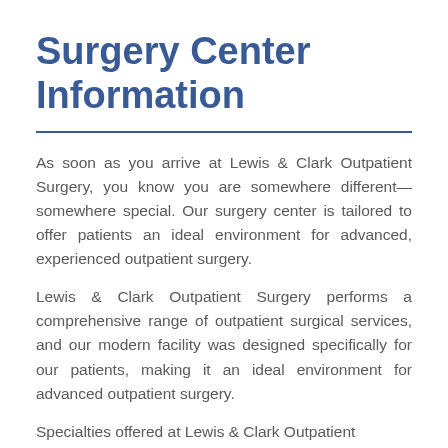Surgery Center Information
As soon as you arrive at Lewis & Clark Outpatient Surgery, you know you are somewhere different—somewhere special. Our surgery center is tailored to offer patients an ideal environment for advanced, experienced outpatient surgery.
Lewis & Clark Outpatient Surgery performs a comprehensive range of outpatient surgical services, and our modern facility was designed specifically for our patients, making it an ideal environment for advanced outpatient surgery.
Specialties offered at Lewis & Clark Outpatient